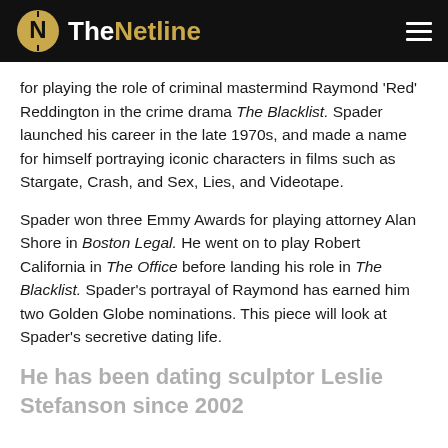TheNetline
for playing the role of criminal mastermind Raymond 'Red' Reddington in the crime drama The Blacklist. Spader launched his career in the late 1970s, and made a name for himself portraying iconic characters in films such as Stargate, Crash, and Sex, Lies, and Videotape.
Spader won three Emmy Awards for playing attorney Alan Shore in Boston Legal. He went on to play Robert California in The Office before landing his role in The Blacklist. Spader's portrayal of Raymond has earned him two Golden Globe nominations. This piece will look at Spader's secretive dating life.
He has been dating sculptor Leslie Stefanson since 2002